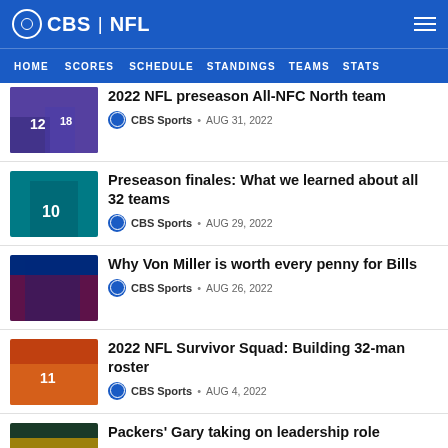CBS | NFL
HOME  SCORES  SCHEDULE  STANDINGS  TEAMS  STATS
2022 NFL preseason All-NFC North team
CBS Sports • AUG 31, 2022
Preseason finales: What we learned about all 32 teams
CBS Sports • AUG 29, 2022
Why Von Miller is worth every penny for Bills
CBS Sports • AUG 26, 2022
2022 NFL Survivor Squad: Building 32-man roster
CBS Sports • AUG 4, 2022
Packers' Gary taking on leadership role